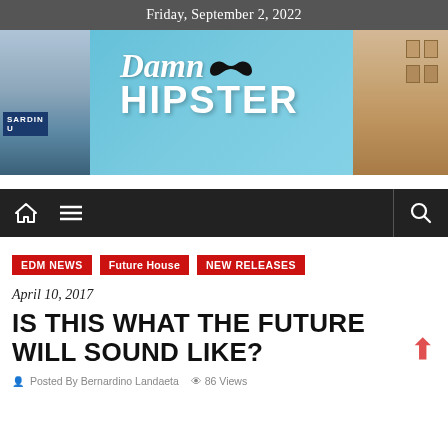Friday, September 2, 2022
[Figure (illustration): Damn Hipster blog banner showing street scene with blue sky, buildings on left and right, and white text 'Damn HIPSTER' with mustache logo in the center]
[Figure (screenshot): Navigation bar with home icon, hamburger menu icon, and search icon on dark background]
EDM NEWS
Future House
NEW RELEASES
April 10, 2017
IS THIS WHAT THE FUTURE WILL SOUND LIKE?
Posted By Bernardino Landaeta  86 Views